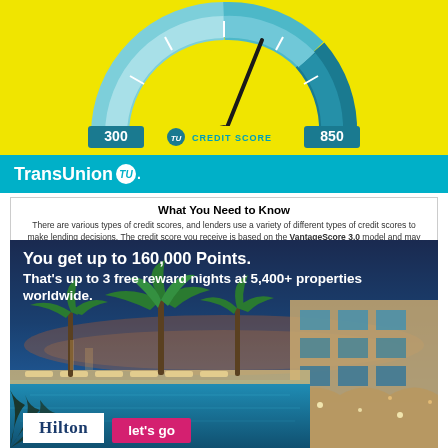[Figure (infographic): Credit score gauge/speedometer showing range 300 to 850, needle pointing right-center, on yellow background. Shows 'CREDIT SCORE' label with TransUnion TU logo badge.]
TransUnion
What You Need to Know
There are various types of credit scores, and lenders use a variety of different types of credit scores to make lending decisions. The credit score you receive is based on the VantageScore 3.0 model and may not be the credit score model used by your lender. $24.95 per month (plus tax where applicable).
[Figure (photo): Hilton hotel advertisement showing resort pool with palm trees at dusk/twilight. Blue water, lounge chairs, palm trees, and illuminated hotel building in background.]
You get up to 160,000 Points.
That's up to 3 free reward nights at 5,400+ properties worldwide.
Hilton
let's go